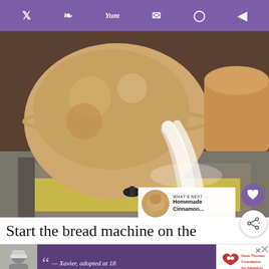Social sharing icons: Twitter, Pinterest, Yummly, Email, WhatsApp, Flipboard
[Figure (photo): Close-up photo of flour being poured from a metal bowl into a bread machine pan containing liquid. The flour cascades in a stream into the pan.]
Start the bread machine on the “DOUGH” setting. When the timer alerts you for added in
[Figure (infographic): Advertisement banner: Dave Thomas Foundation for Adoption, featuring quote by Xavier, adopted at 18, with a person in a winter hat on the left and foundation logo on the right.]